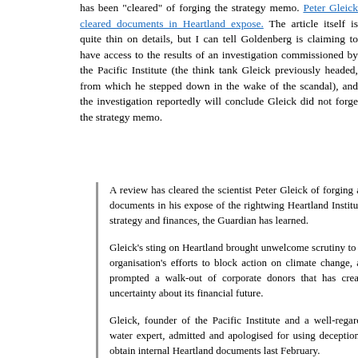has been cleared of forging the strategy memo. Peter Gleick cleared documents in Heartland expose. The article itself is quite thin on details, but I can tell Goldenberg is claiming to have access to the results of an investigation commissioned by the Pacific Institute (the think tank Gleick previously headed, from which he stepped down in the wake of the scandal), and the investigation reportedly will conclude Gleick did not forge the strategy memo.
A review has cleared the scientist Peter Gleick of forging any documents in his expose of the rightwing Heartland Institute's strategy and finances, the Guardian has learned.
Gleick's sting on Heartland brought unwelcome scrutiny to the organisation's efforts to block action on climate change, and prompted a walk-out of corporate donors that has created uncertainty about its financial future.
Gleick, founder of the Pacific Institute and a well-regarded water expert, admitted and apologised for using deception to obtain internal Heartland documents last February.
He has been on leave from the institute pending an external investigation into the unauthorised release of the documents, although it is not entirely clear what the investigation entailed. That investigation is now complete, and the conclusions will be made public.
It was not immediately clear the findings would allow Gleick to make an early return to his job at the Pacific Institute. However, despite being on official leave, Gleick has remained professionally active, appearing at public events and accepting speaking engagements. He delivered...